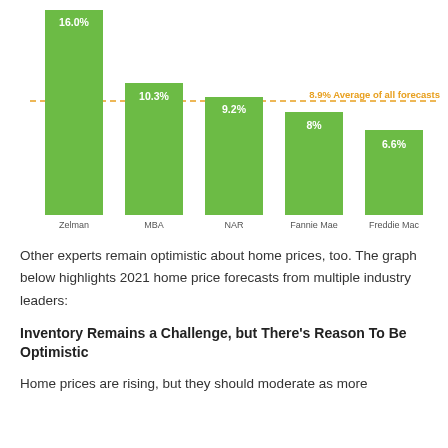[Figure (bar-chart): 2021 Home Price Forecasts]
Other experts remain optimistic about home prices, too. The graph below highlights 2021 home price forecasts from multiple industry leaders:
Inventory Remains a Challenge, but There's Reason To Be Optimistic
Home prices are rising, but they should moderate as more